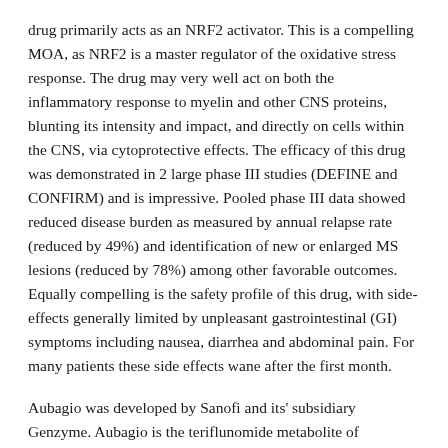drug primarily acts as an NRF2 activator. This is a compelling MOA, as NRF2 is a master regulator of the oxidative stress response. The drug may very well act on both the inflammatory response to myelin and other CNS proteins, blunting its intensity and impact, and directly on cells within the CNS, via cytoprotective effects. The efficacy of this drug was demonstrated in 2 large phase III studies (DEFINE and CONFIRM) and is impressive. Pooled phase III data showed reduced disease burden as measured by annual relapse rate (reduced by 49%) and identification of new or enlarged MS lesions (reduced by 78%) among other favorable outcomes. Equally compelling is the safety profile of this drug, with side-effects generally limited by unpleasant gastrointestinal (GI) symptoms including nausea, diarrhea and abdominal pain. For many patients these side effects wane after the first month.
Aubagio was developed by Sanofi and its' subsidiary Genzyme. Aubagio is the teriflunomide metabolite of